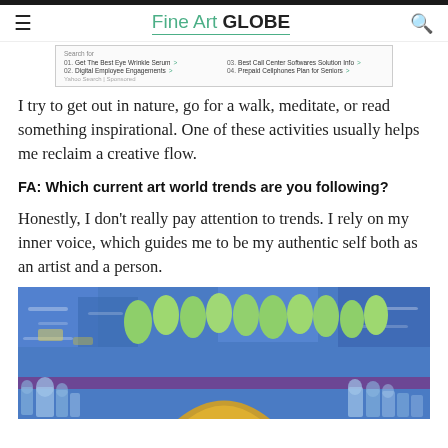Fine Art GLOBE
[Figure (screenshot): Advertisement box with search results: Get The Best Eye Wrinkle Serum, Digital Employee Engagements, Best Call Center Softwares Solution Info, Prepaid Cellphones Plan for Seniors]
I try to get out in nature, go for a walk, meditate, or read something inspirational. One of these activities usually helps me reclaim a creative flow.
FA: Which current art world trends are you following?
Honestly, I don't really pay attention to trends. I rely on my inner voice, which guides me to be my authentic self both as an artist and a person.
[Figure (photo): Colorful artwork showing blue background with green tree-like shapes and arched structures at the bottom, yellow and purple tones]